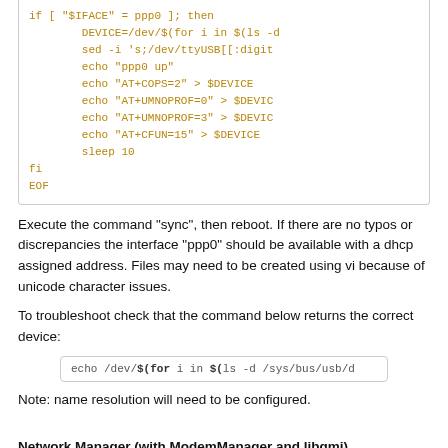[Figure (screenshot): Code block showing shell script snippet: if [ "$IFACE" = ppp0 ]; then DEVICE=/dev/$(for i in $(ls -d... sed -i 's;/dev/ttyUSB[[:digit... echo "ppp0 up" echo "AT+COPS=2" > $DEVICE echo "AT+UMNOPROF=0" > $DEVICE echo "AT+UMNOPROF=3" > $DEVICE echo "AT+CFUN=15" > $DEVICE sleep 10 fi EOF]
Execute the command "sync", then reboot. If there are no typos or discrepancies the interface "ppp0" should be available with a dhcp assigned address. Files may need to be created using vi because of unicode character issues.
To troubleshoot check that the command below returns the correct device:
[Figure (screenshot): Inline code block: echo /dev/$(for i in $(ls -d /sys/bus/usb/d]
Note: name resolution will need to be configured.
Network Manager (with ModemManager and libqmi)
[Figure (screenshot): Code block showing: root@serial.newport: # nmcli --version]